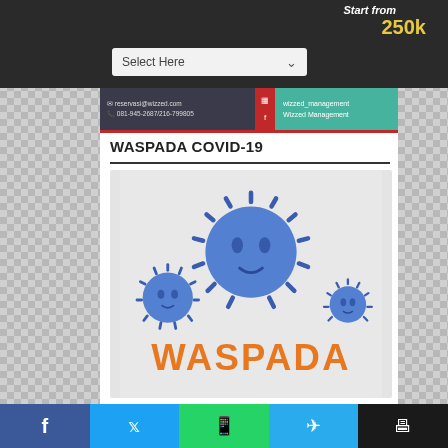Select Here | Start from 250k
[Figure (screenshot): Contact banner with email reservasi@wizzed.com, phone 081-945-2687/216-799805, Instagram wizzed_management, Facebook Wizzed Management on a dark/teal background]
WASPADA COVID-19
[Figure (illustration): Illustration of blue spiky virus particles (coronavirus) with the word WASPADA in orange bold text, on a light grey background]
Facebook | Twitter | WhatsApp | Telegram | Print